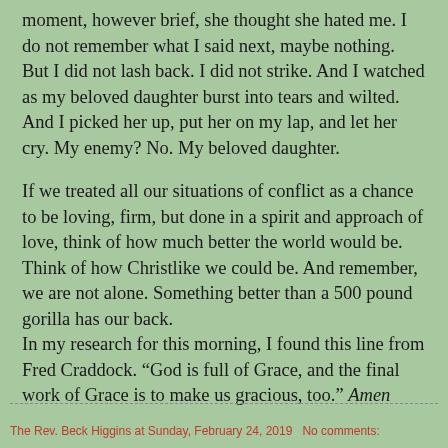moment, however brief, she thought she hated me. I do not remember what I said next, maybe nothing. But I did not lash back. I did not strike. And I watched as my beloved daughter burst into tears and wilted. And I picked her up, put her on my lap, and let her cry. My enemy? No. My beloved daughter.
If we treated all our situations of conflict as a chance to be loving, firm, but done in a spirit and approach of love, think of how much better the world would be. Think of how Christlike we could be. And remember, we are not alone. Something better than a 500 pound gorilla has our back.
In my research for this morning, I found this line from Fred Craddock. “God is full of Grace, and the final work of Grace is to make us gracious, too.” Amen
The Rev. Beck Higgins at Sunday, February 24, 2019   No comments: